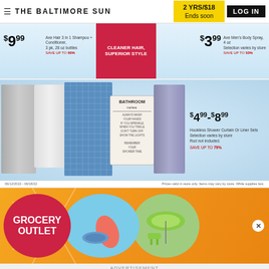THE BALTIMORE SUN | 2 YRS/$18 Ends soon | LOG IN
[Figure (photo): Retail ad showing hair products (Axe Hair 3-in-1 Shampoo+Conditioner, 3pk 28oz bottles, $9.99, Save up to 60%) and (Axe Men's Body Spray 4oz, $3.99, Save up to 53%)]
[Figure (photo): Retail ad showing Hookless Shower Curtain or Liner Sets, selection varies by store, Rod not included, Save up to 79%, priced $4.99-$8.99]
Prices valid in store only. Items may vary by store. While supplies last.
[Figure (photo): Grocery Outlet advertisement with colorful circles showing pool/summer items]
ADVERTISEMENT
[Figure (infographic): Tribune Publishing ad: Advertise 1-2-3 It's that easy!]